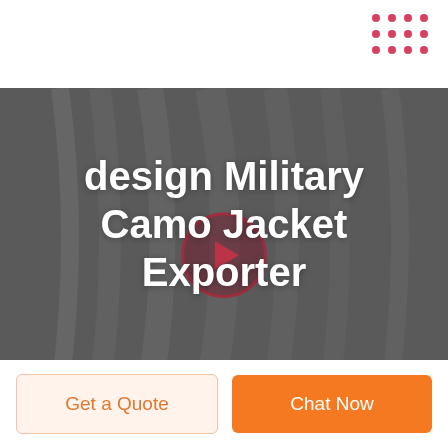[Figure (screenshot): Dark grey hero banner with decorative curved vertical lines in the background and a circular play button icon centered. Large bold white text reads 'design Military Camo Jacket Exporter'. Top-right corner has a decorative pink/red dot grid pattern.]
design Military Camo Jacket Exporter
Get a Quote
Chat Now